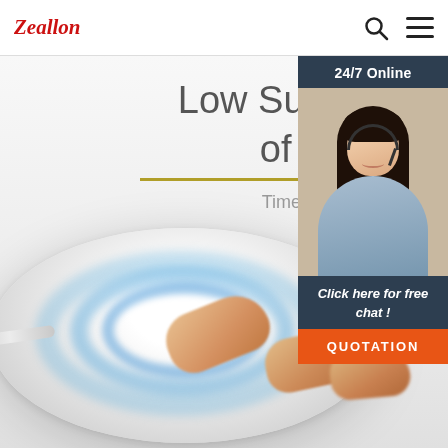Zeallon
Low Surface Temperature of Heating Base
Time is long, accompanied by my
[Figure (photo): Customer service agent with headset, smiling, with '24/7 Online' banner header and 'Click here for free chat!' text, plus orange QUOTATION button]
[Figure (photo): A white circular wireless heating base/charging pad with blue concentric rings glow, with a hand/fingers touching it]